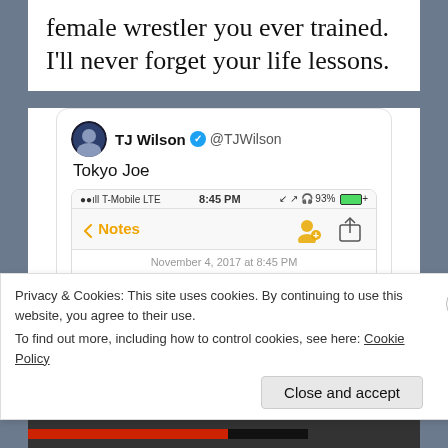female wrestler you ever trained. I'll never forget your life lessons.
[Figure (screenshot): Tweet from TJ Wilson @TJWilson showing a Notes app screenshot with text: RIP Joe Daigo. I don't know what my life would've been had you not come into it-I promise you I wouldn't have survived June 1/2015. But the truth is I wouldn't have made it to that]
Privacy & Cookies: This site uses cookies. By continuing to use this website, you agree to their use.
To find out more, including how to control cookies, see here: Cookie Policy
Close and accept